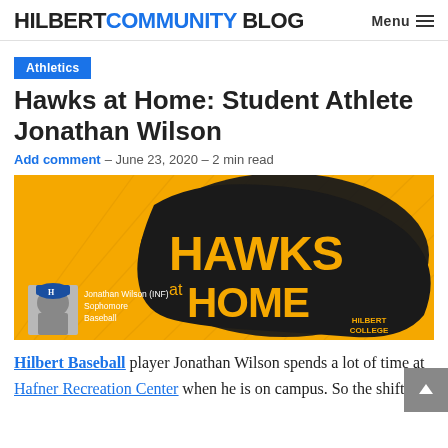HILBERTCOMMUNITY BLOG  Menu
Athletics
Hawks at Home: Student Athlete Jonathan Wilson
Add comment – June 23, 2020 – 2 min read
[Figure (photo): Hawks at Home promotional graphic with yellow background, large black hawk silhouette, bold text reading 'HAWKS at HOME', and a photo of Jonathan Wilson (INF) Sophomore Baseball with HILBERT COLLEGE branding.]
Hilbert Baseball player Jonathan Wilson spends a lot of time at Hafner Recreation Center when he is on campus. So the shift